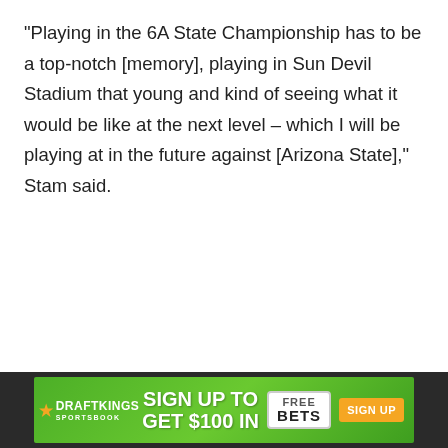“Playing in the 6A State Championship has to be a top-notch [memory], playing in Sun Devil Stadium that young and kind of seeing what it would be like at the next level – which I will be playing at in the future against [Arizona State],” Stam said.
[Figure (other): DraftKings Sportsbook advertisement banner: 'Sign up to get $100 in Free Bets' with a Sign Up button, on a green background with dark sidebar areas.]